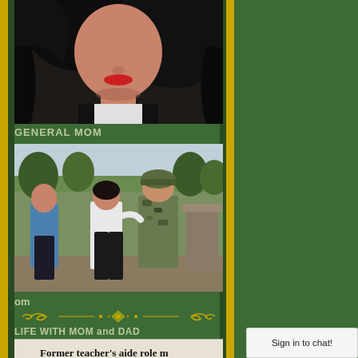[Figure (photo): Close-up portrait photo of a woman with black hair and red lips, partially cropped, wearing dark clothing]
GENERAL MOM
[Figure (photo): Outdoor photo showing a woman in blue top, a person in white top facing away, and a soldier in military camouflage uniform, with green trees in background]
om
[Figure (illustration): Gold decorative ornamental divider with scrollwork and leaf motif]
LIFE WITH MOM and DAD
[Figure (photo): Newspaper clipping showing headline 'Former teacher's aide role m' and 'Senior Spotlight' section with a photo]
Sign in to chat!